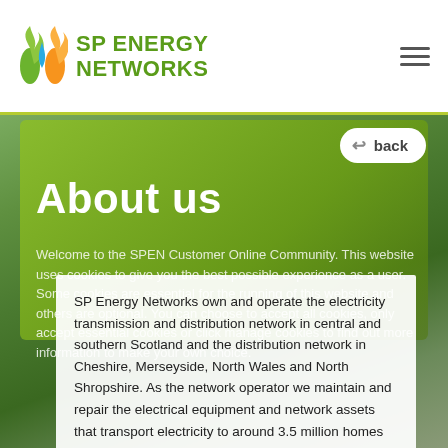[Figure (logo): SP Energy Networks logo with flame/water drop icons in green, blue, orange and green text]
About us
Welcome to the SPEN Customer Online Community. This website uses cookies to give you the best possible experience as a user. Some cookies are essential for the running of this website and others are optional. You can choose to accept all cookies, only accept essential cookies or click manage cookies to find out more information to make your own choice.
SP Energy Networks own and operate the electricity transmission and distribution network in central and southern Scotland and the distribution network in Cheshire, Merseyside, North Wales and North Shropshire. As the network operator we maintain and repair the electrical equipment and network assets that transport electricity to around 3.5 million homes and businesses. SP Energy Networks works hard to ensure we maintain security of electricity supplies to all of our customers.